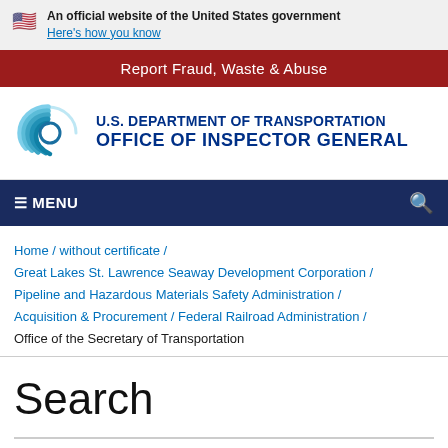An official website of the United States government
Here's how you know
Report Fraud, Waste & Abuse
[Figure (logo): U.S. Department of Transportation Office of Inspector General logo with circular blue swirl emblem]
≡ MENU
Home / without certificate / Great Lakes St. Lawrence Seaway Development Corporation / Pipeline and Hazardous Materials Safety Administration / Acquisition & Procurement / Federal Railroad Administration / Office of the Secretary of Transportation
Search
Search found 1 item